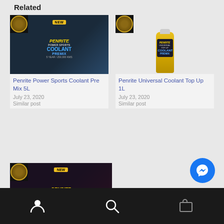Related
[Figure (photo): Penrite Power Sports Coolant Pre Mix 5L product image — dark blue container with yellow NEW badge and Penrite branding]
Penrite Power Sports Coolant Pre Mix 5L
July 23, 2020
Similar post
[Figure (photo): Penrite Universal Coolant Top Up 1L product image — yellow bottle with dark label]
Penrite Universal Coolant Top Up 1L
July 23, 2020
Similar post
[Figure (photo): Penrite 10 Tenths Race Coolant Inhibitor Pre Mix 5L product image — red container with yellow NEW badge and Penrite branding]
Penrite 10 Tenths Race Coolant Inhibitor Pre Mix 5L